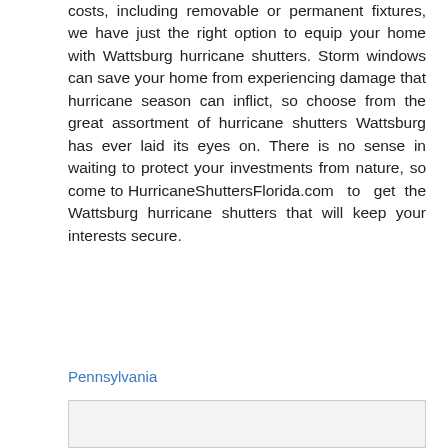costs, including removable or permanent fixtures, we have just the right option to equip your home with Wattsburg hurricane shutters. Storm windows can save your home from experiencing damage that hurricane season can inflict, so choose from the great assortment of hurricane shutters Wattsburg has ever laid its eyes on. There is no sense in waiting to protect your investments from nature, so come to HurricaneShuttersFlorida.com to get the Wattsburg hurricane shutters that will keep your interests secure.
Pennsylvania
[Figure (other): Empty light gray bordered box at bottom of page]